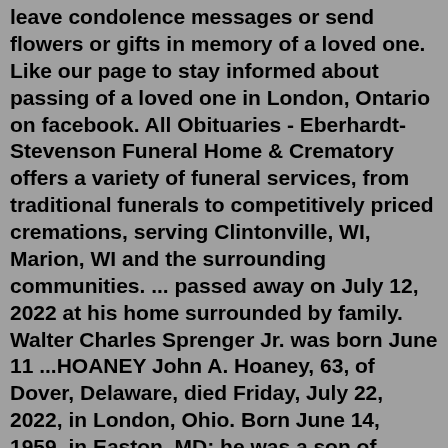leave condolence messages or send flowers or gifts in memory of a loved one. Like our page to stay informed about passing of a loved one in London, Ontario on facebook. All Obituaries - Eberhardt-Stevenson Funeral Home & Crematory offers a variety of funeral services, from traditional funerals to competitively priced cremations, serving Clintonville, WI, Marion, WI and the surrounding communities. ... passed away on July 12, 2022 at his home surrounded by family. Walter Charles Sprenger Jr. was born June 11 ...HOANEY John A. Hoaney, 63, of Dover, Delaware, died Friday, July 22, 2022, in London, Ohio. Born June 14, 1959, in Easton, MD; he was a son of Alfred Hoaney and Louise Boyce. John will always be remembered as a man after God’s heart, a faithful sevant, and a lover of people. He passed away peacefully after a long battle with pancreatic cancer. All Obituaries - Eberhardt-Stevenson Funeral Home & Crematory offers a variety of funeral services, from traditional funerals to competitively priced cremations, serving